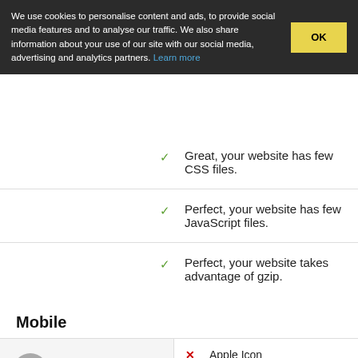We use cookies to personalise content and ads, to provide social media features and to analyse our traffic. We also share information about your use of our site with our social media, advertising and analytics partners. Learn more
Great, your website has few CSS files.
Perfect, your website has few JavaScript files.
Perfect, your website takes advantage of gzip.
Mobile
Apple Icon
Meta Viewport Tag